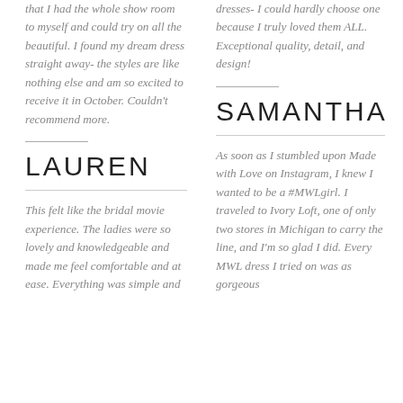that I had the whole show room to myself and could try on all the beautiful. I found my dream dress straight away- the styles are like nothing else and am so excited to receive it in October. Couldn't recommend more.
LAUREN
This felt like the bridal movie experience. The ladies were so lovely and knowledgeable and made me feel comfortable and at ease. Everything was simple and
dresses- I could hardly choose one because I truly loved them ALL. Exceptional quality, detail, and design!
SAMANTHA
As soon as I stumbled upon Made with Love on Instagram, I knew I wanted to be a #MWLgirl. I traveled to Ivory Loft, one of only two stores in Michigan to carry the line, and I'm so glad I did. Every MWL dress I tried on was as gorgeous